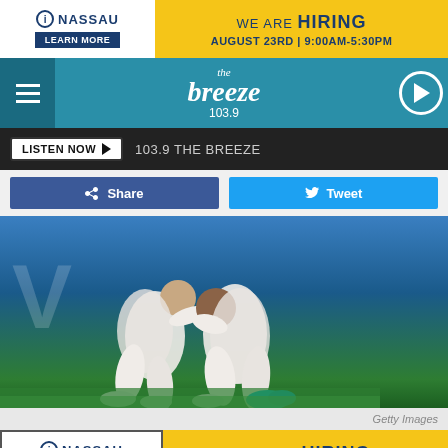[Figure (infographic): Nassau hiring advertisement banner: White Nassau logo section with 'LEARN MORE' button, yellow section reading 'WE ARE HIRING AUGUST 23RD | 9:00AM-5:30PM']
[Figure (logo): The Breeze 103.9 radio station navigation bar with hamburger menu, logo, and play button]
LISTEN NOW ▶  103.9 THE BREEZE
[Figure (infographic): Facebook Share button and Twitter Tweet button]
[Figure (photo): Two soccer players in white uniforms crouching/kneeling on a green pitch, heads together, appearing dejected after a match. Blue stadium background visible.]
Getty Images
[Figure (infographic): Nassau hiring advertisement banner: White Nassau logo section with 'LEARN MORE' button, yellow section reading 'WE ARE HIRING AUGUST 23RD | 9:00AM-5:30PM']